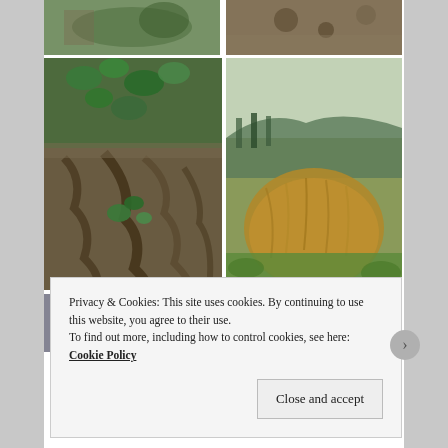[Figure (photo): Top left partial nature photo showing vegetation/cactus]
[Figure (photo): Top right partial nature photo showing tree bark with holes]
[Figure (photo): Middle left photo of gnarled tree roots/trunk with green ivy leaves]
[Figure (photo): Middle right photo of hillside with golden grass and green vegetation]
[Figure (photo): Bottom left partial photo of flower/plant in field]
[Figure (photo): Bottom right partial photo of rocky green landscape]
Privacy & Cookies: This site uses cookies. By continuing to use this website, you agree to their use.
To find out more, including how to control cookies, see here: Cookie Policy
Close and accept